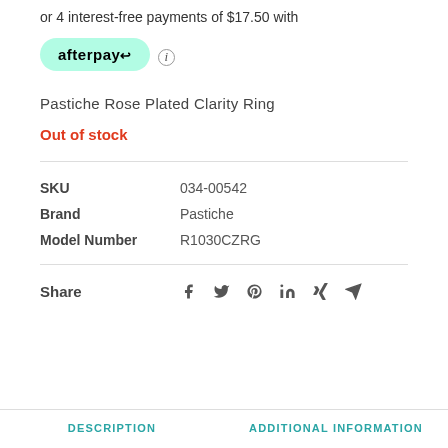or 4 interest-free payments of $17.50 with
[Figure (logo): Afterpay logo badge in mint green rounded rectangle]
Pastiche Rose Plated Clarity Ring
Out of stock
| SKU | 034-00542 |
| Brand | Pastiche |
| Model Number | R1030CZRG |
Share  f  t  p  in  x  send
DESCRIPTION
ADDITIONAL INFORMATION